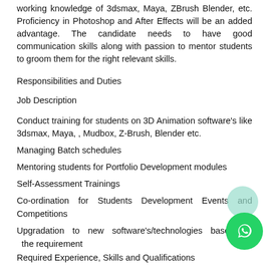working knowledge of 3dsmax, Maya, ZBrush Blender, etc. Proficiency in Photoshop and After Effects will be an added advantage. The candidate needs to have good communication skills along with passion to mentor students to groom them for the right relevant skills.
Responsibilities and Duties
Job Description
Conduct training for students on 3D Animation software's like 3dsmax, Maya, , Mudbox, Z-Brush, Blender etc.
Managing Batch schedules
Mentoring students for Portfolio Development modules
Self-Assessment Trainings
Co-ordination for Students Development Events and Competitions
Upgradation to new software's/technologies based on the requirement
Required Experience, Skills and Qualifications
Minimum Experience Required is between 3-5 years. Prior experience in teaching will be an added advantage. The candidate